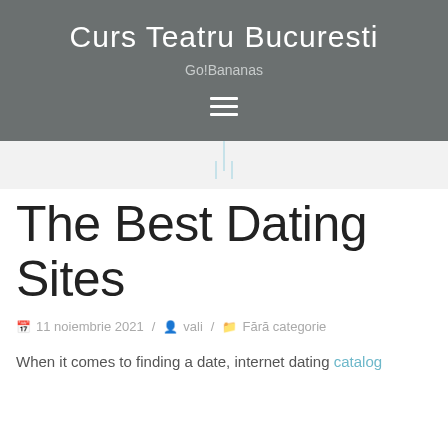Curs Teatru Bucuresti
Go!Bananas
The Best Dating Sites
11 noiembrie 2021 / vali / Fără categorie
When it comes to finding a date, internet dating catalog